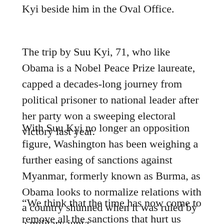Kyi beside him in the Oval Office.
The trip by Suu Kyi, 71, who like Obama is a Nobel Peace Prize laureate, capped a decades-long journey from political prisoner to national leader after her party won a sweeping electoral victory last year.
With Suu Kyi no longer an opposition figure, Washington has been weighing a further easing of sanctions against Myanmar, formerly known as Burma, as Obama looks to normalize relations with a country shunned when it was ruled by a military junta.
“We think that the time has now come to remove all the sanctions that hurt us economically,” Suu Kyi said,